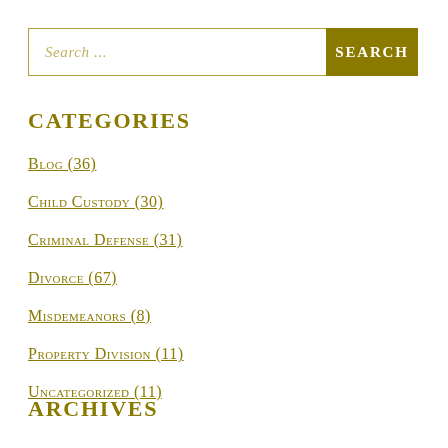Search ...
CATEGORIES
Blog (36)
Child Custody (30)
Criminal Defense (31)
Divorce (67)
Misdemeanors (8)
Property Division (11)
Uncategorized (11)
ARCHIVES